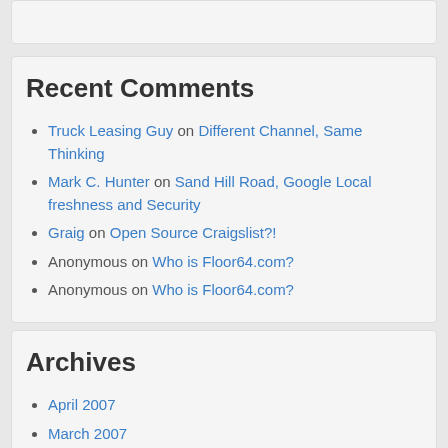Recent Comments
Truck Leasing Guy on Different Channel, Same Thinking
Mark C. Hunter on Sand Hill Road, Google Local freshness and Security
Graig on Open Source Craigslist?!
Anonymous on Who is Floor64.com?
Anonymous on Who is Floor64.com?
Archives
April 2007
March 2007